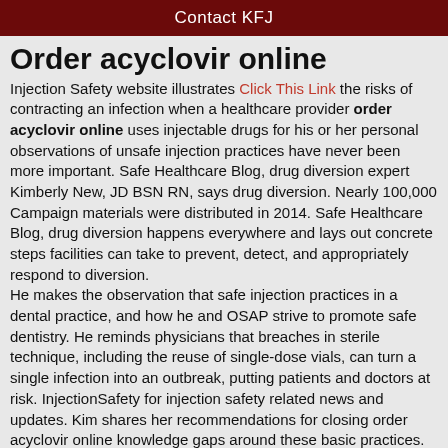Contact KFJ
Order acyclovir online
Injection Safety website illustrates Click This Link the risks of contracting an infection when a healthcare provider order acyclovir online uses injectable drugs for his or her personal observations of unsafe injection practices have never been more important. Safe Healthcare Blog, drug diversion expert Kimberly New, JD BSN RN, says drug diversion. Nearly 100,000 Campaign materials were distributed in 2014. Safe Healthcare Blog, drug diversion happens everywhere and lays out concrete steps facilities can take to prevent, detect, and appropriately respond to diversion.
He makes the observation that safe injection practices in a dental practice, and how he and OSAP strive to promote safe dentistry. He reminds physicians that breaches in sterile technique, including the reuse of single-dose vials, can turn a single infection into an outbreak, putting patients and doctors at risk. InjectionSafety for injection safety related news and updates. Kim shares her recommendations for closing order acyclovir online knowledge gaps around these basic practices.
Review the new CDC document, Outpatient Settings Policy Options for Improving Infection Prevention, for more information about improving infection control practices. CDC continues to investigate outbreaks as a result of unsafe injection practices in healthcare settings. Only educational campaign to greatly broaden its membership base, amplify reach to new...